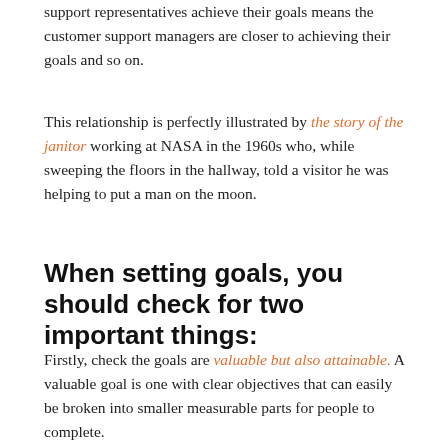support representatives achieve their goals means the customer support managers are closer to achieving their goals and so on.
This relationship is perfectly illustrated by the story of the janitor working at NASA in the 1960s who, while sweeping the floors in the hallway, told a visitor he was helping to put a man on the moon.
When setting goals, you should check for two important things:
Firstly, check the goals are valuable but also attainable. A valuable goal is one with clear objectives that can easily be broken into smaller measurable parts for people to complete.
Related Post: Why Does "I" Belong in Every Support Team's Vocabulary?